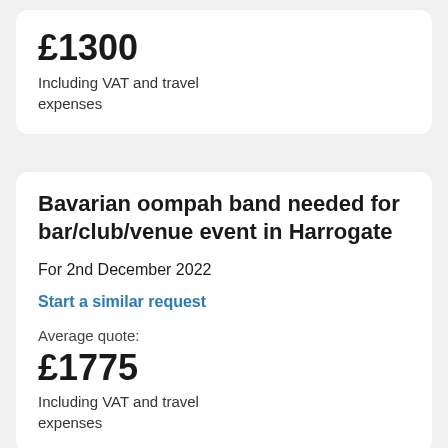£1300
Including VAT and travel expenses
Bavarian oompah band needed for bar/club/venue event in Harrogate
For 2nd December 2022
Start a similar request
Average quote:
£1775
Including VAT and travel expenses